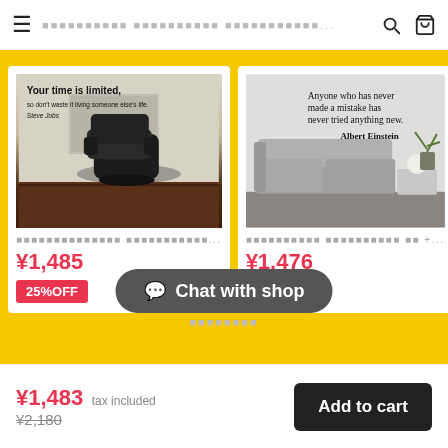≡  [Japanese text] ... 🔍 🛒
[Figure (photo): Wall sticker product photo showing leather Eames-style chair with quote: Your time is limited, so don't waste it living someone else's life. - Steve Jobs]
[Japanese product title] ...
¥1,485
25%OFF
[Figure (photo): Wall sticker product photo showing modern grey sofa with quote: Anyone who has never made a mistake has never tried anything new. - Albert Einstein]
[Japanese product title] ...
¥1,476
38%OFF
Chat with shop
[Japanese pagination text]
¥1,483 tax included ¥2,180
Add to cart